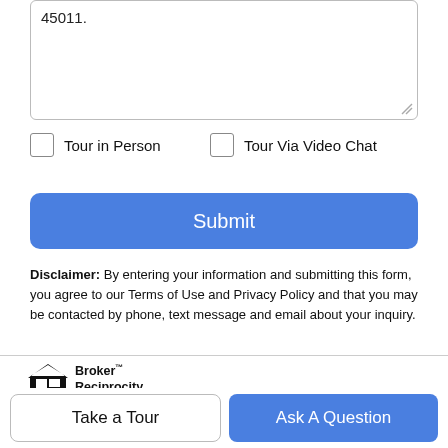45011.
Tour in Person
Tour Via Video Chat
Submit
Disclaimer: By entering your information and submitting this form, you agree to our Terms of Use and Privacy Policy and that you may be contacted by phone, text message and email about your inquiry.
[Figure (logo): Broker Reciprocity logo with house icon]
The data relating to real estate for sale on this website comes in
Take a Tour
Ask A Question